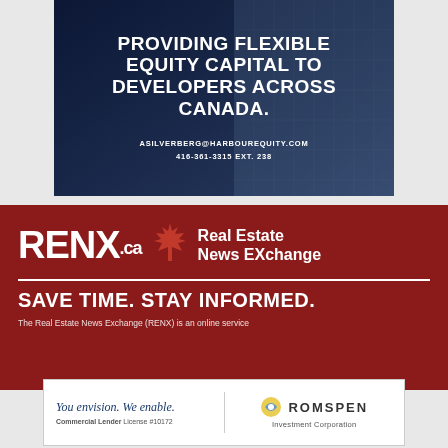[Figure (other): Advertisement for Harbour Equity: dark blue background with building image. Text reads 'PROVIDING FLEXIBLE EQUITY CAPITAL TO DEVELOPERS ACROSS CANADA.' with contact ASILVERBERG@HARBOUREQUITY.COM and 416-361-3315 EXT. 238]
[Figure (logo): RENX.ca Real Estate News Exchange advertisement on dark red background. Tagline: SAVE TIME. STAY INFORMED. Followed by partial text: The Real Estate News Exchange (RENX) is an online service]
[Figure (other): Romspen Investment Corporation advertisement: 'You envision. We enable. Commercial Lender License #10172' on left, Romspen Investment Corporation logo on right.]